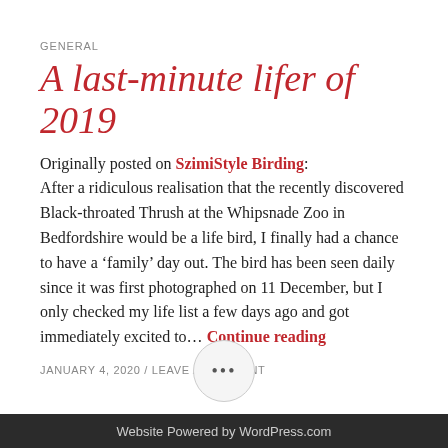GENERAL
A last-minute lifer of 2019
Originally posted on SzimiStyle Birding: After a ridiculous realisation that the recently discovered Black-throated Thrush at the Whipsnade Zoo in Bedfordshire would be a life bird, I finally had a chance to have a ‘family’ day out. The bird has been seen daily since it was first photographed on 11 December, but I only checked my life list a few days ago and got immediately excited to… Continue reading
JANUARY 4, 2020 / LEAVE A COMMENT
Website Powered by WordPress.com